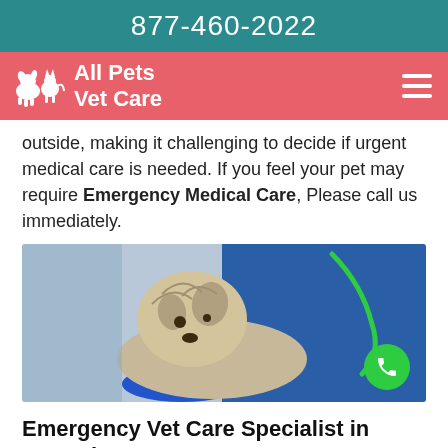877-460-2022
All Pets Vet Care
outside, making it challenging to decide if urgent medical care is needed. If you feel your pet may require Emergency Medical Care, Please call us immediately.
[Figure (photo): A small Yorkshire Terrier dog being examined by a veterinarian in blue scrubs and blue gloves, with a green stethoscope. A green phone call button is overlaid in the bottom right.]
Emergency Vet Care Specialist in Waccabuc